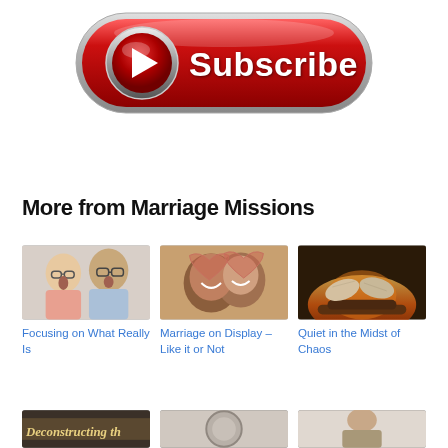[Figure (illustration): Red glossy Subscribe button with a play triangle icon on the left, metallic silver border, white text reading Subscribe]
More from Marriage Missions
[Figure (photo): Surprised couple - blonde woman with glasses and man with glasses looking shocked]
Focusing on What Really Is
[Figure (photo): Happy couple making a heart frame with their hands, smiling]
Marriage on Display – Like it or Not
[Figure (photo): Cozy scene of feet in socks near a fireplace]
Quiet in the Midst of Chaos
[Figure (photo): Partial image with text Deconstructing th...]
[Figure (photo): Partial circular image]
[Figure (photo): Partial image of a person]